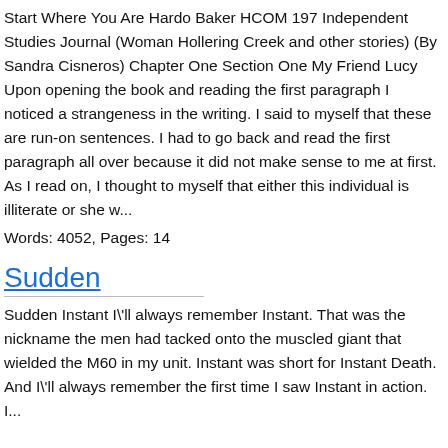Start Where You Are Hardo Baker HCOM 197 Independent Studies Journal (Woman Hollering Creek and other stories) (By Sandra Cisneros) Chapter One Section One My Friend Lucy Upon opening the book and reading the first paragraph I noticed a strangeness in the writing. I said to myself that these are run-on sentences. I had to go back and read the first paragraph all over because it did not make sense to me at first. As I read on, I thought to myself that either this individual is illiterate or she w...
Words: 4052, Pages: 14
Sudden
Sudden Instant I\'ll always remember Instant. That was the nickname the men had tacked onto the muscled giant that wielded the M60 in my unit. Instant was short for Instant Death. And I\'ll always remember the first time I saw Instant in action. I...